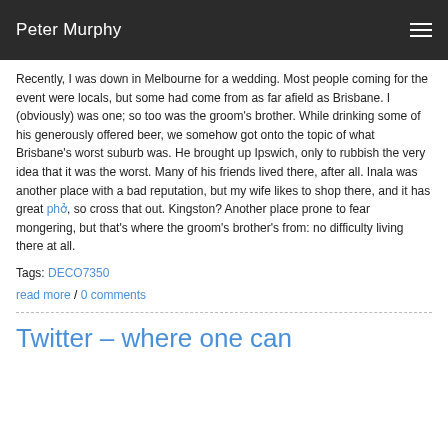Peter Murphy
Recently, I was down in Melbourne for a wedding. Most people coming for the event were locals, but some had come from as far afield as Brisbane. I (obviously) was one; so too was the groom's brother. While drinking some of his generously offered beer, we somehow got onto the topic of what Brisbane's worst suburb was. He brought up Ipswich, only to rubbish the very idea that it was the worst. Many of his friends lived there, after all. Inala was another place with a bad reputation, but my wife likes to shop there, and it has great phở, so cross that out. Kingston? Another place prone to fear mongering, but that's where the groom's brother's from: no difficulty living there at all.
Tags: DECO7350
read more / 0 comments
Twitter – where one can